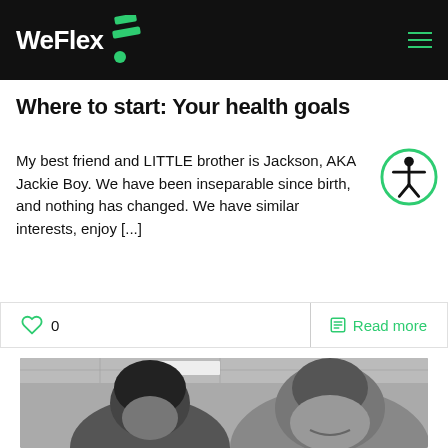WeFlex
Where to start: Your health goals
My best friend and LITTLE brother is Jackson, AKA Jackie Boy. We have been inseparable since birth, and nothing has changed. We have similar interests, enjoy [...]
0  Read more
[Figure (photo): Black and white photo of two men smiling in a gym setting. Left man has curly hair, right man has short hair and visible tattoos on his arm.]